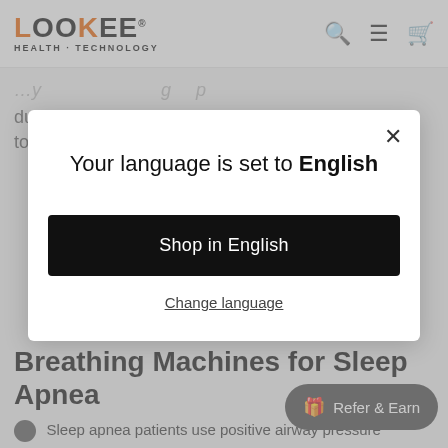LOOKEE HEALTH - TECHNOLOGY
due to an obstructed airway. Instead, the brain fails to
[Figure (screenshot): Modal dialog on a website saying 'Your language is set to English' with a 'Shop in English' button and a 'Change language' link. Has a close X button in the top right corner.]
Breathing Machines for Sleep Apnea
Sleep apnea patients use positive airway pressure